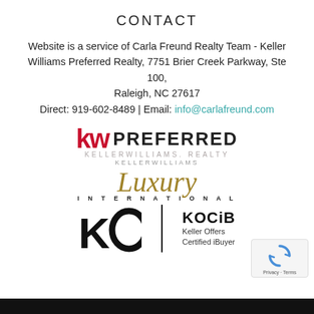CONTACT
Website is a service of Carla Freund Realty Team - Keller Williams Preferred Realty, 7751 Brier Creek Parkway, Ste 100, Raleigh, NC 27617
Direct: 919-602-8489 | Email: info@carlafreund.com
[Figure (logo): KW Preferred / Keller Williams Realty logo with red 'kw' letters and bold 'PREFERRED' text, plus Keller Williams Luxury International and KO KOCiB (Keller Offers Certified iBuyer) logos]
[Figure (other): reCAPTCHA badge with circular arrow icon and 'Privacy - Terms' text]